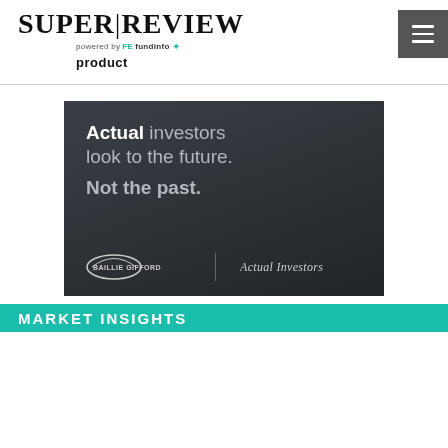SUPER|REVIEW powered by FE fundinfo product
[Figure (illustration): Baillie Gifford advertisement with dark background. Text reads 'Actual investors look to the future. Not the past.' with Baillie Gifford logo and 'Actual Investors' tagline.]
MARKET INSIGHTS